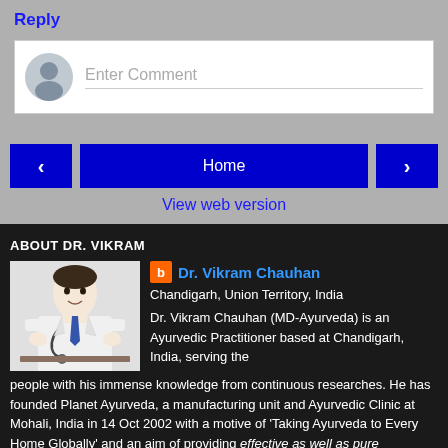Reply
Enter Comment
‹
Home
›
View web version
ABOUT DR. VIKRAM
[Figure (photo): Photo of Dr. Vikram Chauhan, a male doctor in white coat with stethoscope]
Dr. Vikram Chauhan
Chandigarh, Union Territory, India
Dr. Vikram Chauhan (MD-Ayurveda) is an Ayurvedic Practitioner based at Chandigarh, India, serving the people with his immense knowledge from continuous researches. He has founded Planet Ayurveda, a manufacturing unit and Ayurvedic Clinic at Mohali, India in 14 Oct 2002 with a motive of 'Taking Ayurveda to Every Home Globally' and an aim of providing effective as well as pure vegetarian medicines to the people, which